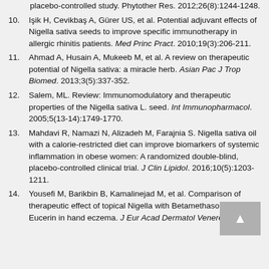placebo-controlled study. Phytother Res. 2012;26(8):1244-1248.
10. Işik H, Cevikbaş A, Gürer US, et al. Potential adjuvant effects of Nigella sativa seeds to improve specific immunotherapy in allergic rhinitis patients. Med Princ Pract. 2010;19(3):206-211.
11. Ahmad A, Husain A, Mukeeb M, et al. A review on therapeutic potential of Nigella sativa: a miracle herb. Asian Pac J Trop Biomed. 2013;3(5):337-352.
12. Salem, ML. Review: Immunomodulatory and therapeutic properties of the Nigella sativa L. seed. Int Immunopharmacol. 2005;5(13-14):1749-1770.
13. Mahdavi R, Namazi N, Alizadeh M, Farajnia S. Nigella sativa oil with a calorie-restricted diet can improve biomarkers of systemic inflammation in obese women: A randomized double-blind, placebo-controlled clinical trial. J Clin Lipidol. 2016;10(5):1203-1211.
14. Yousefi M, Barikbin B, Kamalinejad M, et al. Comparison of therapeutic effect of topical Nigella with Betamethasone and Eucerin in hand eczema. J Eur Acad Dermatol Venereol.